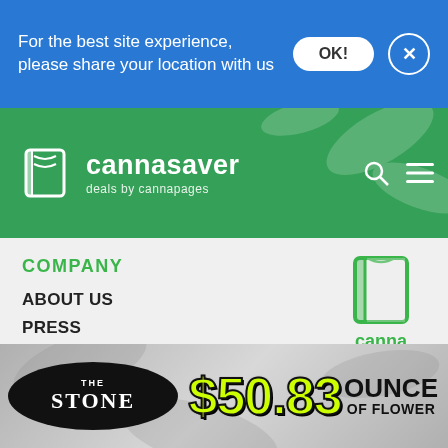For the best site experience, please share your location with us
[Figure (logo): Cannasaver logo with book icon and tagline 'deals by cannapages' on green header banner]
COMPANY
ABOUT US
PRESS
CANNAPAGES.COM
[Figure (logo): Cannapages logo — green open book icon with 'canna pages' text below in green]
QUICK FIND
BEST RECREATIONAL DEALS
BEST MEDICAL MARIJUANA DEALS
[Figure (photo): The Stone dispensary ad showing '$50.83 OUNCE OF FLOWER' deal on grey background with cannabis leaf imagery]